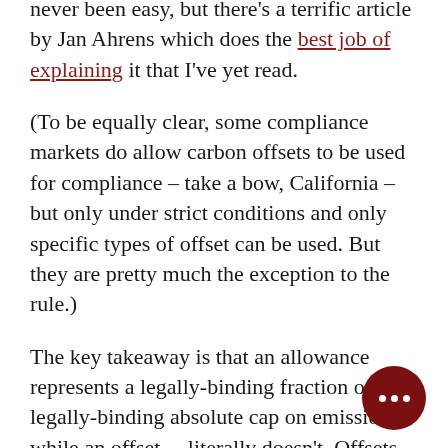never been easy, but there's a terrific article by Jan Ahrens which does the best job of explaining it that I've yet read.
(To be equally clear, some compliance markets do allow carbon offsets to be used for compliance – take a bow, California – but only under strict conditions and only specific types of offset can be used. But they are pretty much the exception to the rule.)
The key takeaway is that an allowance represents a legally-binding fraction of a legally-binding absolute cap on emissions, while an offset….literally doesn't. Offsets represent the can… out of emissions made elsewhere.